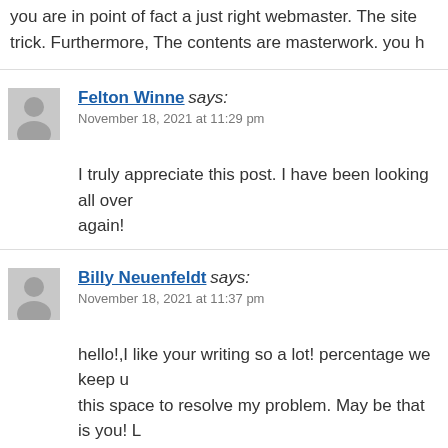you are in point of fact a just right webmaster. The site trick. Furthermore, The contents are masterwork. you h
Felton Winne says:
November 18, 2021 at 11:29 pm

I truly appreciate this post. I have been looking all over again!
Billy Neuenfeldt says:
November 18, 2021 at 11:37 pm

hello!,I like your writing so a lot! percentage we keep u this space to resolve my problem. May be that is you! L
Eloy says: